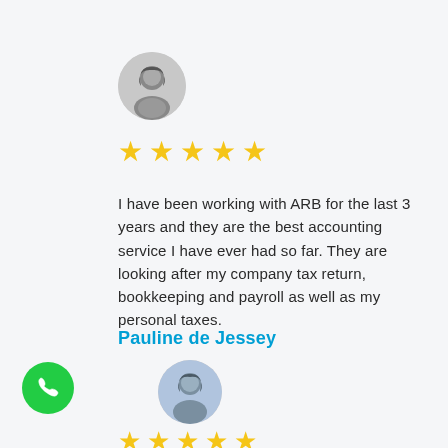[Figure (photo): Circular avatar photo of a woman in black and white]
[Figure (infographic): Five yellow stars rating]
I have been working with ARB for the last 3 years and they are the best accounting service I have ever had so far. They are looking after my company tax return, bookkeeping and payroll as well as my personal taxes.
Pauline de Jessey
[Figure (photo): Circular avatar photo of a second woman]
[Figure (other): Green phone call button icon]
[Figure (infographic): Five yellow stars rating (second review)]